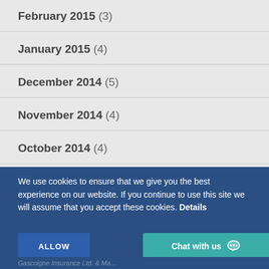February 2015 (3)
January 2015 (4)
December 2014 (5)
November 2014 (4)
October 2014 (4)
September 2014 (4)
We use cookies to ensure that we give you the best experience on our website. If you continue to use this site we will assume that you accept these cookies. Details
ALLOW
Chat with us
Gascoigne Insurance Ltd. & Ma...